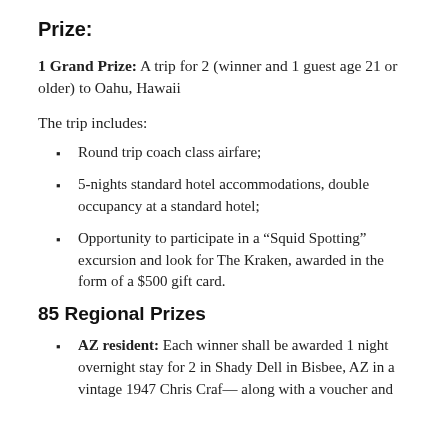Prize:
1 Grand Prize: A trip for 2 (winner and 1 guest age 21 or older) to Oahu, Hawaii
The trip includes:
Round trip coach class airfare;
5-nights standard hotel accommodations, double occupancy at a standard hotel;
Opportunity to participate in a “Squid Spotting” excursion and look for The Kraken, awarded in the form of a $500 gift card.
85 Regional Prizes
AZ resident: Each winner shall be awarded 1 night overnight stay for 2 in Shady Dell in Bisbee, AZ in a vintage 1947 Chris Craft — along with a voucher and